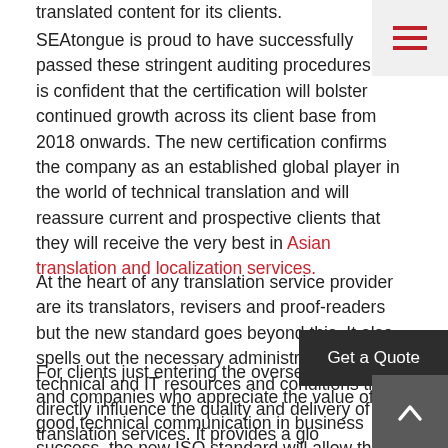translated content for its clients.
SEAtongue is proud to have successfully passed these stringent auditing procedures and is confident that the certification will bolster continued growth across its client base from 2018 onwards. The new certification confirms the company as an established global player in the world of technical translation and will reassure current and prospective clients that they will receive the very best in Asian translation and localization services.
At the heart of any translation service provider are its translators, revisers and proof-readers but the new standard goes beyond this. It also spells out the necessary administrative, technical and IT resources and conditions that directly influence the quality and delivery of translation services. It provides a global standard and replaces the previous European standard for translation services, EN 15038:2006.
For clients just entering the overseas markets and companies who appreciate the value of good technical communication in business success, the new ISO standard will allow them to apply a fast and